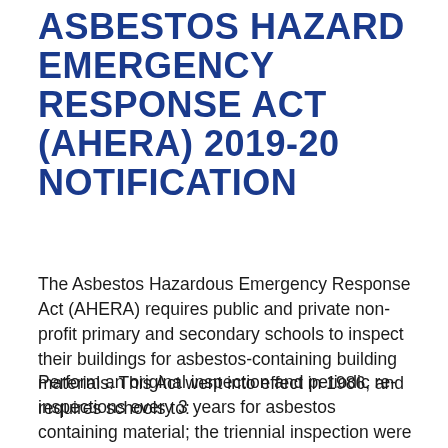ASBESTOS HAZARD EMERGENCY RESPONSE ACT (AHERA) 2019-20 NOTIFICATION
The Asbestos Hazardous Emergency Response Act (AHERA) requires public and private non-profit primary and secondary schools to inspect their buildings for asbestos-containing building materials. This Act went into effect in 1986, and requires schools to:
Perform an original inspection and periodic re-inspections every 3 years for asbestos containing material; the triennial inspection were completed in 2019. Develop, maintain, and update an asbestos management plan and keep a copy at the school;